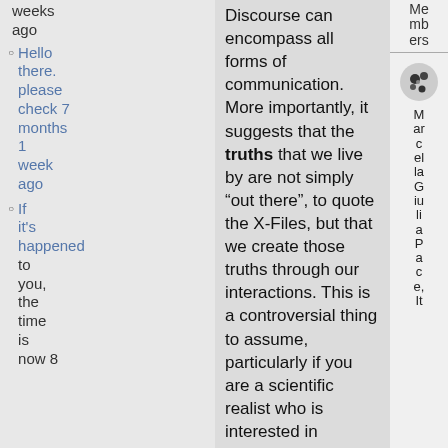weeks ago
Hello there. please check 7 months 1 week ago
If it's happened to you, the time is now 8
Discourse can encompass all forms of communication. More importantly, it suggests that the truths that we live by are not simply “out there”, to quote the X-Files, but that we create those truths through our interactions. This is a controversial thing to assume, particularly if you are a scientific realist who is interested in exploring the natural world and finding facts through scientific tools. Discourse theory is therefore often associated with a postmodernism and its skepticism of the natural sciences
Members
[Figure (illustration): Small circular avatar icon showing a stylized figure]
Marcella Giulia Pace, It